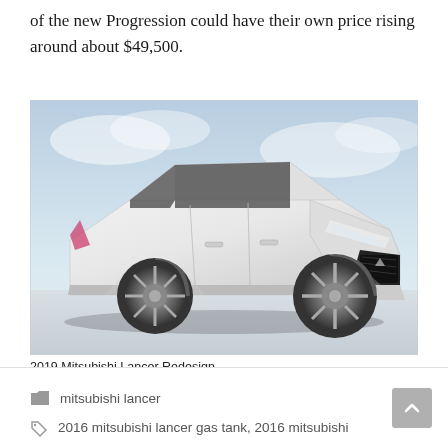of the new Progression could have their own price rising around about $49,500.
[Figure (photo): A white 2019 Mitsubishi Lancer concept car photographed from a front three-quarter angle against a cloudy sky background. The car features sporty alloy wheels, a wide grille, and aggressive front bumper styling.]
2019 Mitsubishi Lancer Redesign
mitsubishi lancer
2016 mitsubishi lancer gas tank, 2016 mitsubishi